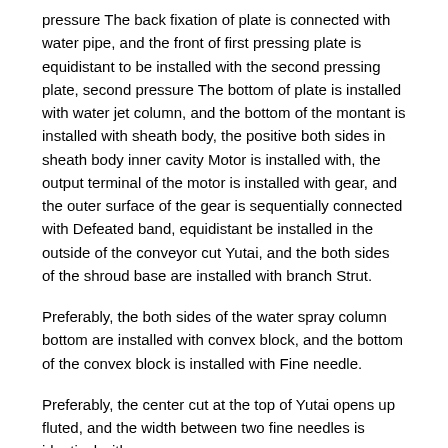pressure The back fixation of plate is connected with water pipe, and the front of first pressing plate is equidistant to be installed with the second pressing plate, second pressure The bottom of plate is installed with water jet column, and the bottom of the montant is installed with sheath body, the positive both sides in sheath body inner cavity Motor is installed with, the output terminal of the motor is installed with gear, and the outer surface of the gear is sequentially connected with Defeated band, equidistant be installed in the outside of the conveyor cut Yutai, and the both sides of the shroud base are installed with branch Strut.
Preferably, the both sides of the water spray column bottom are installed with convex block, and the bottom of the convex block is installed with Fine needle.
Preferably, the center cut at the top of Yutai opens up fluted, and the width between two fine needles is identical with groove.
Preferably, the both sides for cutting Yutai are installed with soft board.